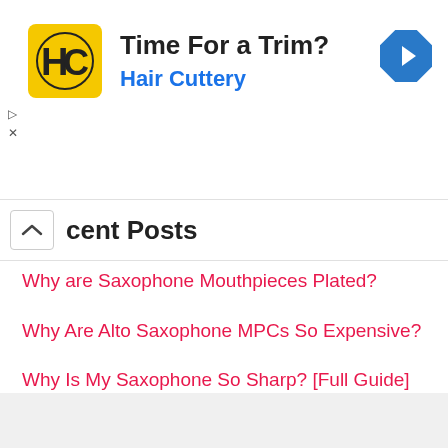[Figure (logo): Hair Cuttery advertisement banner with HC logo, text 'Time For a Trim?' and 'Hair Cuttery', and a blue navigation arrow icon]
Recent Posts
Why are Saxophone Mouthpieces Plated?
Why Are Alto Saxophone MPCs So Expensive?
Why Is My Saxophone So Sharp? [Full Guide]
Why Is My Saxophone Out Of Tune? [Explained & Solved]
What Are Flavored Reeds For Alto Sax?